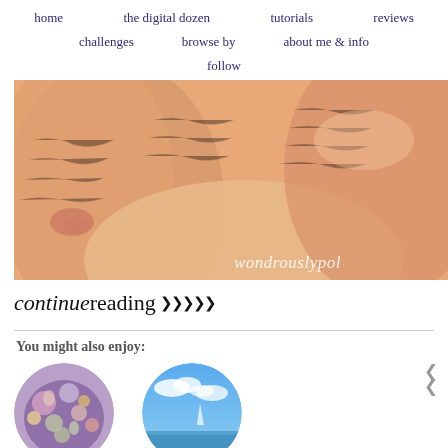home   the digital dozen   tutorials   reviews   challenges   browse by   about me & info   follow
[Figure (photo): Close-up macro photograph of human fingers/skin showing skin texture and pores, with watermark text 'wondrouslypol' in italic white in lower right corner]
continue reading >>>>
You might also enjoy:
[Figure (photo): Round thumbnail of colorful floral/nail art image]
[Figure (photo): Round thumbnail of blue sky/ocean scene]